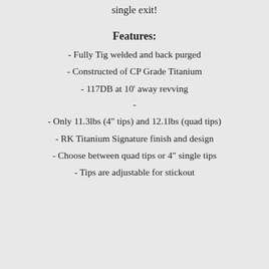single exit!
Features:
- Fully Tig welded and back purged
- Constructed of CP Grade Titanium
- 117DB at 10' away revving
-
- Only 11.3lbs (4" tips) and 12.1lbs (quad tips)
- RK Titanium Signature finish and design
- Choose between quad tips or 4" single tips
- Tips are adjustable for stickout